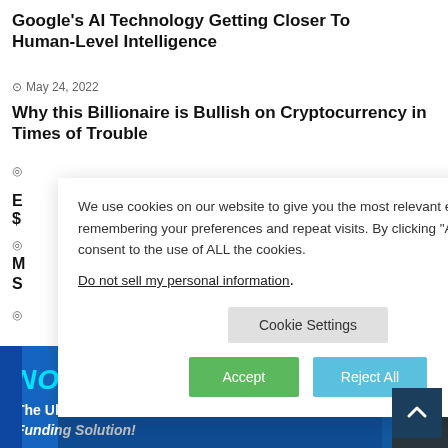Google’s AI Technology Getting Closer To Human‑Level Intelligence
May 24, 2022
Why this Billionaire is Bullish on Cryptocurrency in Times of Trouble
E... $... n Track Toward
M... S... Foldable Android
We use cookies on our website to give you the most relevant experience by remembering your preferences and repeat visits. By clicking “Accept”, you consent to the use of ALL the cookies.
Do not sell my personal information.
Cookie Settings
Accept
Reject All
[Figure (infographic): Blue advertisement banner reading NOT YOURS. The Ultimate Trader Funding Solution! with a person in suit and back-to-top arrow button]